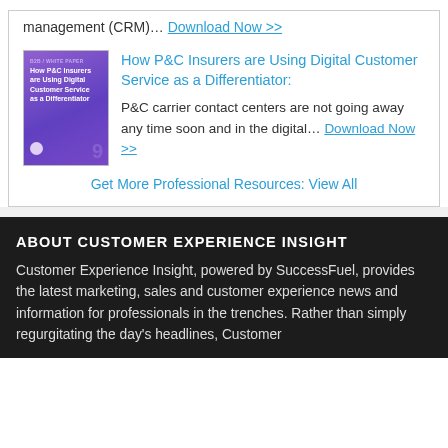management (CRM)… Download Now >>
[Figure (illustration): Book cover with purple background titled 'How P&C Insurers are Using Digital Customer Service as a Differentiator']
How P&C Insurers are Using Digital Customer Service as a Differentiator: P&C carrier contact centers are not going away any time soon and in the digital… Download Now >>
Get More Professional Resources: View All
ABOUT CUSTOMER EXPERIENCE INSIGHT
Customer Experience Insight, powered by SuccessFuel, provides the latest marketing, sales and customer experience news and information for professionals in the trenches. Rather than simply regurgitating the day's headlines, Customer